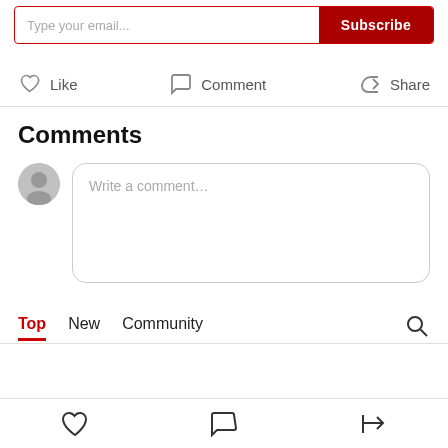[Figure (screenshot): Email subscribe bar with text input placeholder 'Type your email...' and a dark red 'Subscribe' button]
Like   Comment   Share
Comments
Write a comment...
Top   New   Community
[Figure (screenshot): Bottom navigation bar with heart (like), speech bubble (comment), and share icons]